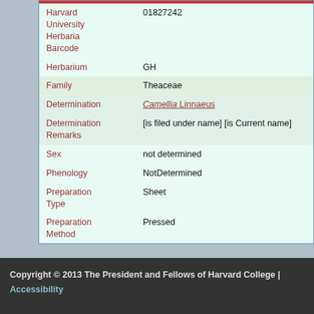| Field | Value |
| --- | --- |
| Harvard University Herbaria Barcode | 01827242 |
| Herbarium | GH |
| Family | Theaceae |
| Determination | Camellia Linnaeus |
| Determination Remarks | [is filed under name] [is Current name] |
| Sex | not determined |
| Phenology | NotDetermined |
| Preparation Type | Sheet |
| Preparation Method | Pressed |
Copyright © 2013 The President and Fellows of Harvard College | Accessibility